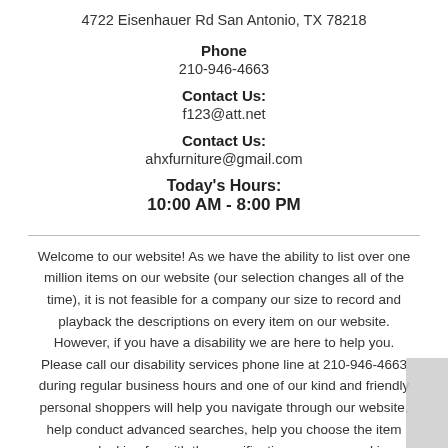4722 Eisenhauer Rd
San Antonio, TX 78218
Phone
210-946-4663
Contact Us:
f123@att.net
Contact Us:
ahxfurniture@gmail.com
Today's Hours:
10:00 AM - 8:00 PM
Welcome to our website! As we have the ability to list over one million items on our website (our selection changes all of the time), it is not feasible for a company our size to record and playback the descriptions on every item on our website. However, if you have a disability we are here to help you. Please call our disability services phone line at 210-946-4663 during regular business hours and one of our kind and friendly personal shoppers will help you navigate through our website, help conduct advanced searches, help you choose the item you are looking for with the specifications you are seeking, read you the specifications of any item and consult with you about the products themselves. There is no charge for the help of this personal shopper for anyone with a disability. Finally, your personal shopper will